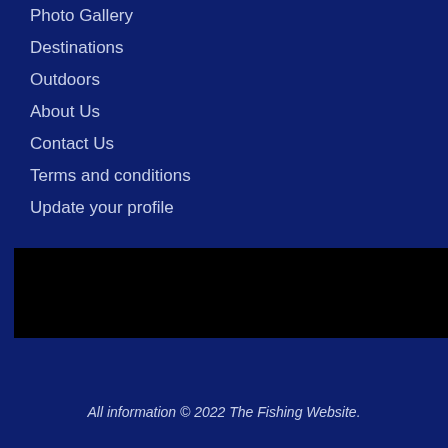Photo Gallery
Destinations
Outdoors
About Us
Contact Us
Terms and conditions
Update your profile
[Figure (other): Black rectangular banner/image area]
All information © 2022 The Fishing Website.